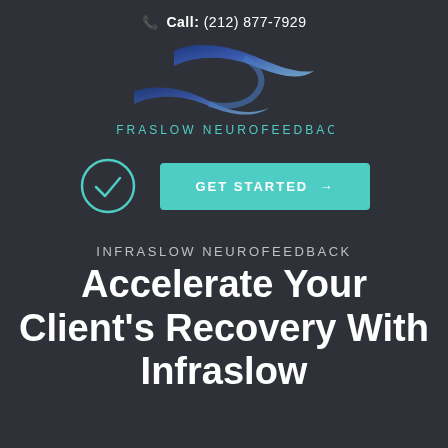Call: (212) 877-7929
[Figure (logo): Infraslow Neurofeedback logo with teal wave/ribbon graphic and text INFRASLOW NEUROFEEDBACK]
[Figure (infographic): Teal circular checkmark icon on the left and a teal GET STARTED button with arrow on the right]
INFRASLOW NEUROFEEDBACK
Accelerate Your Client's Recovery With Infraslow